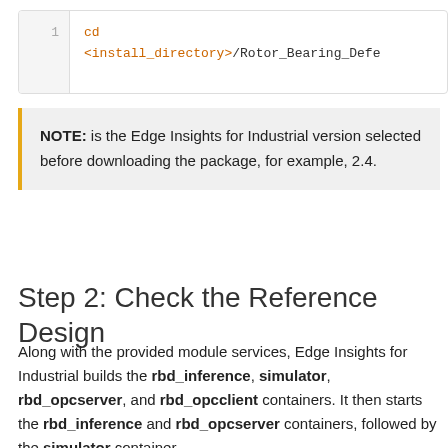[Figure (screenshot): Code block with line number 1 showing: cd <install_directory>/Rotor_Bearing_Defe...]
NOTE: is the Edge Insights for Industrial version selected before downloading the package, for example, 2.4.
Step 2: Check the Reference Design
Along with the provided module services, Edge Insights for Industrial builds the rbd_inference, simulator, rbd_opcserver, and rbd_opcclient containers. It then starts the rbd_inference and rbd_opcserver containers, followed by the simulator container.